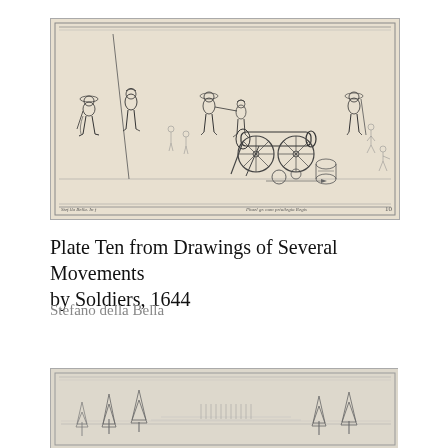[Figure (illustration): Etching showing soldiers in various movements with a cannon in the center, muskets, pikes, and artillery equipment. Figures are depicted marching, loading, and operating cannon. Text at bottom left reads 'Stef.lla Bella In f' and at center-right 'Phael gr. cum priuilegio Regis', with plate number '10' at far right.]
Plate Ten from Drawings of Several Movements by Soldiers, 1644
Stefano della Bella
[Figure (illustration): Partial view of another etching showing a landscape with trees and figures, partially cut off at the bottom of the page.]